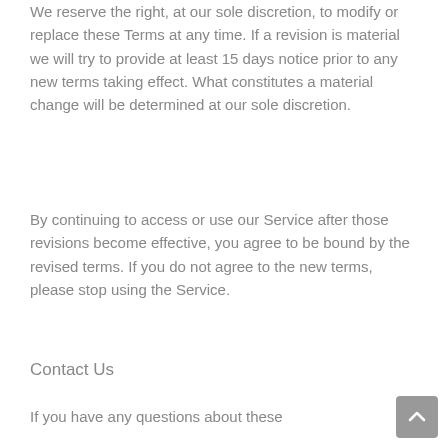We reserve the right, at our sole discretion, to modify or replace these Terms at any time. If a revision is material we will try to provide at least 15 days notice prior to any new terms taking effect. What constitutes a material change will be determined at our sole discretion.
By continuing to access or use our Service after those revisions become effective, you agree to be bound by the revised terms. If you do not agree to the new terms, please stop using the Service.
Contact Us
If you have any questions about these